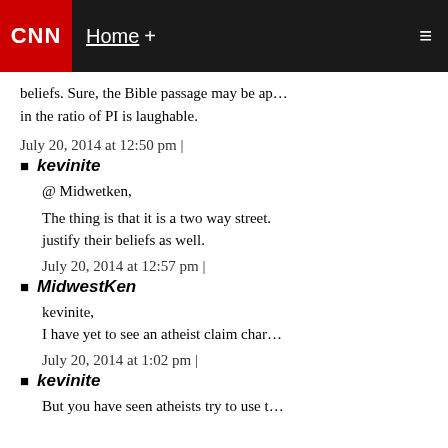CNN Home +
beliefs. Sure, the Bible passage may be ap… in the ratio of PI is laughable.
July 20, 2014 at 12:50 pm |
kevinite
@ Midwetken,
The thing is that it is a two way street. justify their beliefs as well.
July 20, 2014 at 12:57 pm |
MidwestKen
kevinite,
I have yet to see an atheist claim char…
July 20, 2014 at 1:02 pm |
kevinite
But you have seen atheists try to use t…